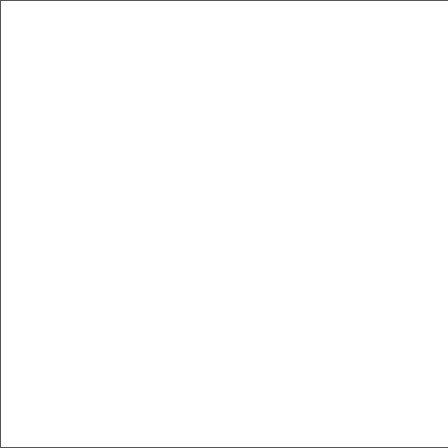Porph pyramid Index Obeli Colum Anima Hippo (Istan
22  A18.V Subli Neg. n 20.5 x Index Gates Huma Turke Palac Turke
22  A18.V Tombe Selim 253 20.4 x Index Maus Sepu monu Selim (Istan Ayasc
22  A18.V